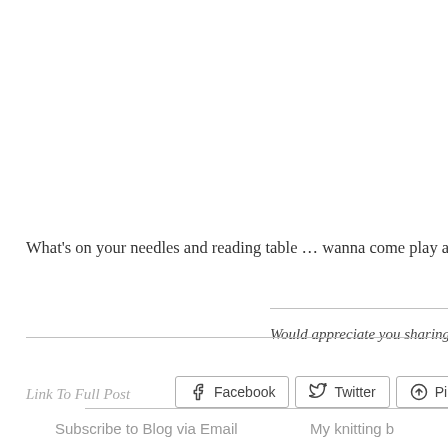What's on your needles and reading table … wanna come play at Ginny's w
Would appreciate you sharing
[Figure (other): Social sharing buttons: Facebook, Twitter, Pinterest]
Link To Full Post
Subscribe to Blog via Email
My knitting b